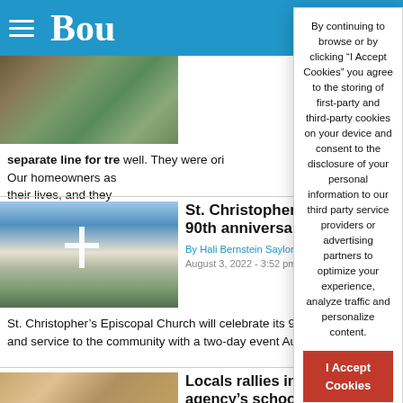Bou (Boulder City Review)
[Figure (photo): Photo of leaves/plant, partially visible, top left]
separate line for tre well. They were ori Our homeowners as their lives, and they
By continuing to browse or by clicking “I Accept Cookies” you agree to the storing of first-party and third-party cookies on your device and consent to the disclosure of your personal information to our third party service providers or advertising partners to optimize your experience, analyze traffic and personalize content.
I Accept Cookies
[Figure (photo): Photo of St. Christopher's Episcopal Church exterior with white cross]
St. Christopher’s to mark 90th anniversary
By Hali Bernstein Saylor Boulder City Review
August 3, 2022 - 3:52 pm
St. Christopher’s Episcopal Church will celebrate its 90th anniversary and service to the community with a two-day event Aug. 13 and 14.
[Figure (photo): Photo of person standing in a room with supplies/food bank items]
Locals rallies in support of agency’s school supply drive
By Owen Krepps Boulder City Review
August 3, 2022 - 3:48 pm
In July, Geoffrey Baughman’s Farmers